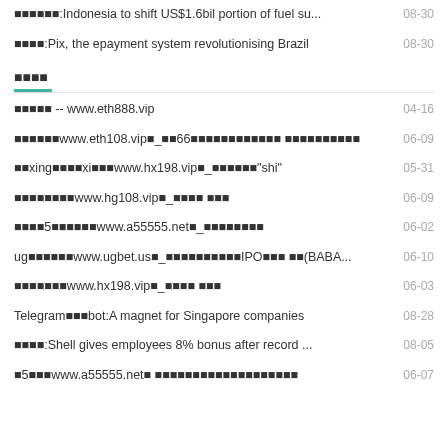:Indonesia to shift US$1.6bil portion of fuel su... 08-30
:Pix, the epayment system revolutionising Brazil 08-30
-- www.eth888.vip 04-16
www.eth108.vip　_　66　　　　　　　　　　　　　　　　　　　　　　　 06-09
xing　　　　xi　　　www.hx198.vip　_　　　　　　"shi" 05-31
www.hg108.vip　_　　　　 　　　 06-09
5　　　　　　www.a55555.net　_　　　　　　　　　 06-02
ug　　　　　　www.ugbet.us　_　　　　　　　　　　　IPO　　　 　(BABA.... 06-10
www.hx198.vip　_　　　　 　　　 06-03
Telegram　　　bot:A magnet for Singapore companies 08-28
:Shell gives employees 8% bonus after record ... 08-05
5　　　www.a55555.net　 　　　　　　　　　　　　　　　　　　　 06-07